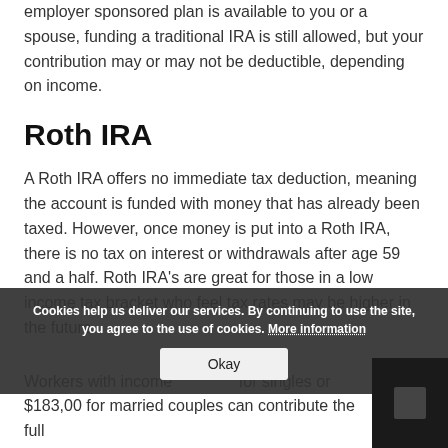employer sponsored plan is available to you or a spouse, funding a traditional IRA is still allowed, but your contribution may or may not be deductible, depending on income.
Roth IRA
A Roth IRA offers no immediate tax deduction, meaning the account is funded with money that has already been taxed. However, once money is put into a Roth IRA, there is no tax on interest or withdrawals after age 59 and a half. Roth IRA's are great for those in a low income tax bracket who feel tax rates may be higher in the future.
Workers with income [clipped] for singles or $183,00 for married couples can contribute the full